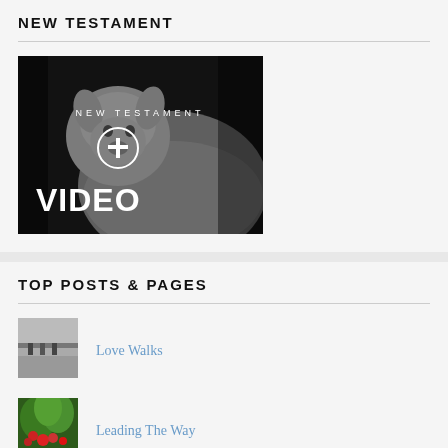NEW TESTAMENT
[Figure (photo): Black and white photo of a lamb/sheep with text overlay: NEW TESTAMENT, a cross icon, and VIDEO]
TOP POSTS & PAGES
[Figure (photo): Small thumbnail image of people walking, linked to Love Walks post]
Love Walks
[Figure (photo): Small thumbnail image of flowers/plants, linked to Leading The Way post]
Leading The Way